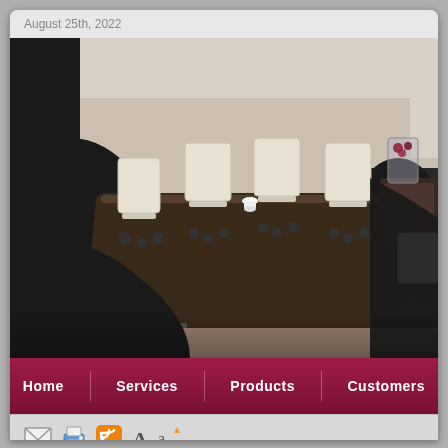August 25th, 2022
[Figure (photo): Conference room with a large dark rectangular table, white leather chairs, and office furniture in the background. Black curved decorative overlay at the bottom of the image.]
Home | Services | Products | Customers
Boss Design
Kruze
Mars
Lily
Products | Seating
LILY